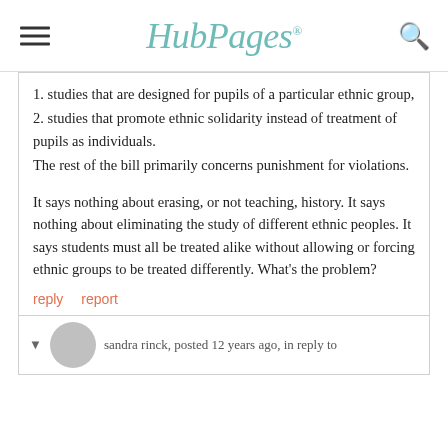HubPages
1. studies that are designed for pupils of a particular ethnic group,
2. studies that promote ethnic solidarity instead of treatment of pupils as individuals.
The rest of the bill primarily concerns punishment for violations.
It says nothing about erasing, or not teaching, history.  It says nothing about eliminating the study of different ethnic peoples.  It says students must all be treated alike without allowing or forcing ethnic groups to be treated differently.  What's the problem?
reply   report
sandra rinck, posted 12 years ago, in reply to